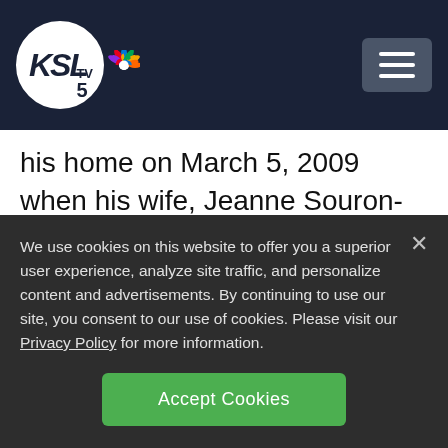[Figure (logo): KSL TV 5 NBC affiliate logo with peacock icon on dark navy header bar with hamburger menu button]
his home on March 5, 2009 when his wife, Jeanne Souron-Mathers, said that he had moved to California.
On November 22, 2019, patrol officers responded to a welfare check call on a 75-
We use cookies on this website to offer you a superior user experience, analyze site traffic, and personalize content and advertisements. By continuing to use our site, you consent to our use of cookies. Please visit our Privacy Policy for more information.
Accept Cookies